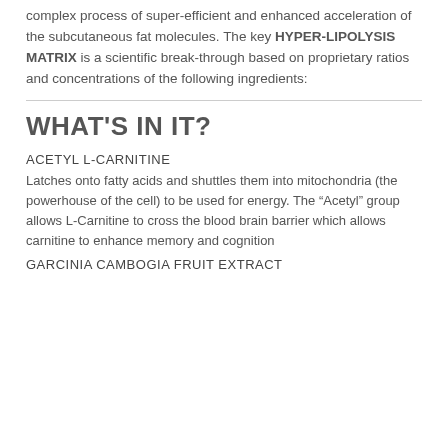complex process of super-efficient and enhanced acceleration of the subcutaneous fat molecules. The key HYPER-LIPOLYSIS MATRIX is a scientific break-through based on proprietary ratios and concentrations of the following ingredients:
WHAT'S IN IT?
ACETYL L-CARNITINE
Latches onto fatty acids and shuttles them into mitochondria (the powerhouse of the cell) to be used for energy. The “Acetyl” group allows L-Carnitine to cross the blood brain barrier which allows carnitine to enhance memory and cognition
GARCINIA CAMBOGIA FRUIT EXTRACT